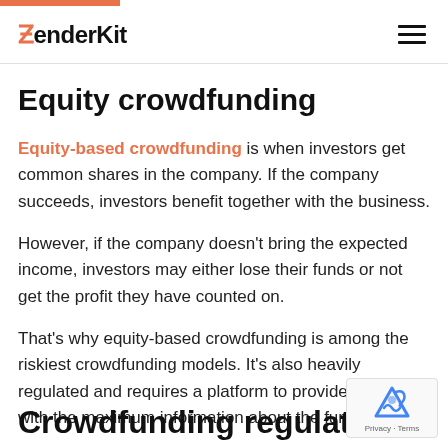LenderKit
Equity crowdfunding
Equity-based crowdfunding is when investors get common shares in the company. If the company succeeds, investors benefit together with the business.
However, if the company doesn't bring the expected income, investors may either lose their funds or not get the profit they have counted on.
That's why equity-based crowdfunding is among the riskiest crowdfunding models. It's also heavily regulated and requires a platform to provide investors with the maximum information about the fundrais
Crowdfunding regulation